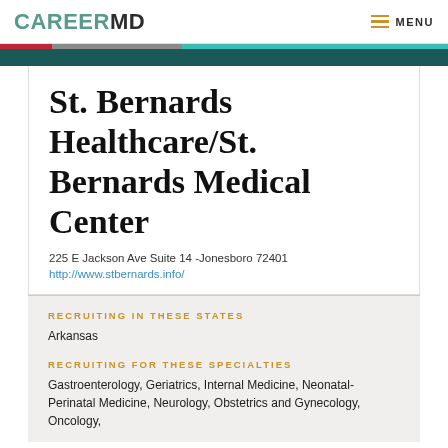CAREERMD  MENU
St. Bernards Healthcare/St. Bernards Medical Center
225 E Jackson Ave Suite 14 -Jonesboro 72401
http://www.stbernards.info/
RECRUITING IN THESE STATES
Arkansas
RECRUITING FOR THESE SPECIALTIES
Gastroenterology, Geriatrics, Internal Medicine, Neonatal-Perinatal Medicine, Neurology, Obstetrics and Gynecology, Oncology,